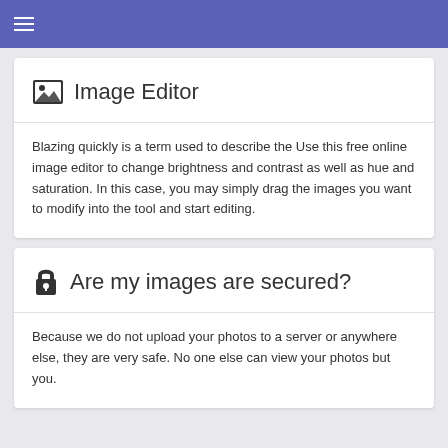≡
Image Editor
Blazing quickly is a term used to describe the Use this free online image editor to change brightness and contrast as well as hue and saturation. In this case, you may simply drag the images you want to modify into the tool and start editing.
Are my images are secured?
Because we do not upload your photos to a server or anywhere else, they are very safe. No one else can view your photos but you.